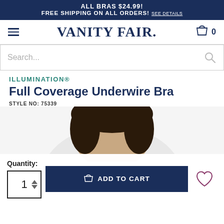ALL BRAS $24.99! FREE SHIPPING ON ALL ORDERS! SEE DETAILS
VANITY FAIR.
Search...
ILLUMINATION®
Full Coverage Underwire Bra
STYLE NO: 75339
[Figure (photo): Model wearing the Full Coverage Underwire Bra, showing top of head and white bra]
Quantity: 1
ADD TO CART